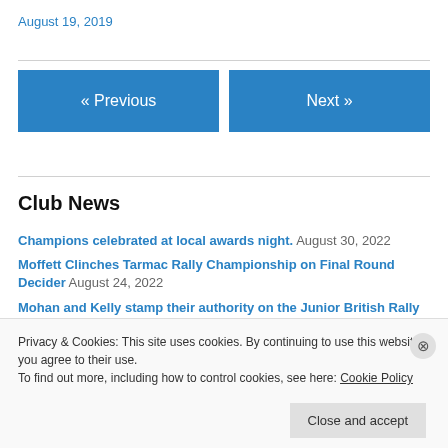August 19, 2019
« Previous
Next »
Club News
Champions celebrated at local awards night. August 30, 2022
Moffett Clinches Tarmac Rally Championship on Final Round Decider August 24, 2022
Mohan and Kelly stamp their authority on the Junior British Rally
Privacy & Cookies: This site uses cookies. By continuing to use this website, you agree to their use. To find out more, including how to control cookies, see here: Cookie Policy
Close and accept